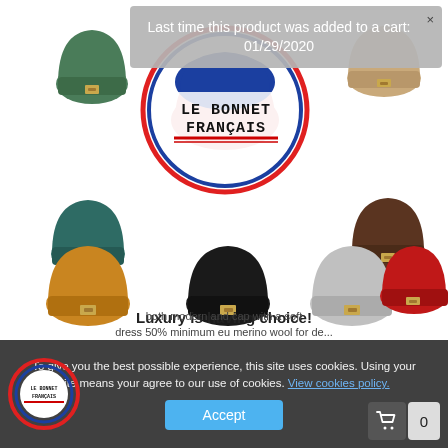[Figure (screenshot): E-commerce product page for 'Le Bonnet Français' showing a grid of wool beanies in various colors (green, olive, tan/khaki, dark teal, pink, brown, mustard, black, gray, red) with a central circular logo. A tooltip overlay reads 'Last time this product was added to a cart: 01/29/2020'. Bottom text 'Luxury is having choice!' and a cookie consent banner with 'Accept' button.]
Last time this product was added to a cart: 01/29/2020
LE BONNET FRANÇAIS
Luxury is having choice!
To give you the best possible experience, this site uses cookies. Using your site means your agree to our use of cookies. View cookies policy.
both modern and cap with a soft dress 50% minimum eu merino wool for de...